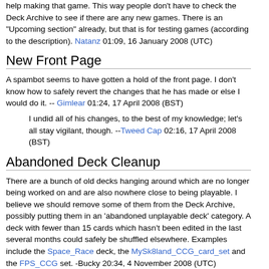help making that game. This way people don't have to check the Deck Archive to see if there are any new games. There is an "Upcoming section" already, but that is for testing games (according to the description). Natanz 01:09, 16 January 2008 (UTC)
New Front Page
A spambot seems to have gotten a hold of the front page. I don't know how to safely revert the changes that he has made or else I would do it. -- Gimlear 01:24, 17 April 2008 (BST)
I undid all of his changes, to the best of my knowledge; let's all stay vigilant, though. --Tweed Cap 02:16, 17 April 2008 (BST)
Abandoned Deck Cleanup
There are a bunch of old decks hanging around which are no longer being worked on and are also nowhere close to being playable. I believe we should remove some of them from the Deck Archive, possibly putting them in an 'abandoned unplayable deck' category. A deck with fewer than 15 cards which hasn't been edited in the last several months could safely be shuffled elsewhere. Examples include the Space_Race deck, the MySk8land_CCG_card_set and the FPS_CCG set. -Bucky 20:34, 4 November 2008 (UTC)
True, we could use a new category of "unfinished CCG set", but I'd